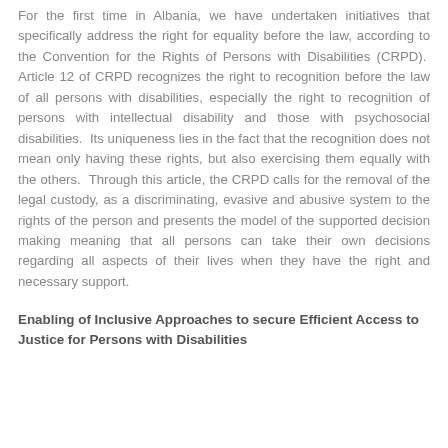For the first time in Albania, we have undertaken initiatives that specifically address the right for equality before the law, according to the Convention for the Rights of Persons with Disabilities (CRPD).  Article 12 of CRPD recognizes the right to recognition before the law of all persons with disabilities, especially the right to recognition of persons with intellectual disability and those with psychosocial disabilities.  Its uniqueness lies in the fact that the recognition does not mean only having these rights, but also exercising them equally with the others.  Through this article, the CRPD calls for the removal of the legal custody, as a discriminating, evasive and abusive system to the rights of the person and presents the model of the supported decision making meaning that all persons can take their own decisions regarding all aspects of their lives when they have the right and necessary support.
Enabling of Inclusive Approaches to secure Efficient Access to Justice for Persons with Disabilities